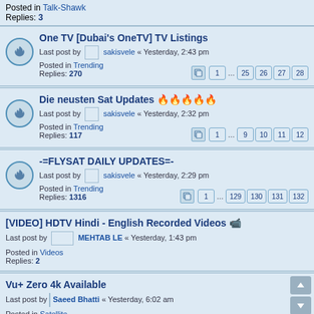Posted in Talk-Shawk
Replies: 3
One TV [Dubai's OneTV] TV Listings — Last post by sakisvele « Yesterday, 2:43 pm — Posted in Trending — Replies: 270
Die neusten Sat Updates — Last post by sakisvele « Yesterday, 2:32 pm — Posted in Trending — Replies: 117
-=FLYSAT DAILY UPDATES=- — Last post by sakisvele « Yesterday, 2:29 pm — Posted in Trending — Replies: 1316
[VIDEO] HDTV Hindi - English Recorded Videos — Last post by MEHTAB LE « Yesterday, 1:43 pm — Posted in Videos — Replies: 2
Vu+ Zero 4k Available — Last post by Saeed Bhatti « Yesterday, 6:02 am — Posted in Satellite — Replies: 2